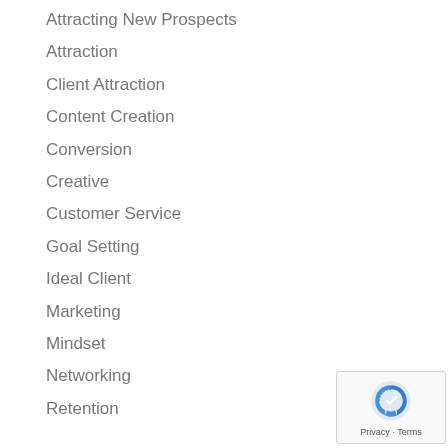Attracting New Prospects
Attraction
Client Attraction
Content Creation
Conversion
Creative
Customer Service
Goal Setting
Ideal Client
Marketing
Mindset
Networking
Retention